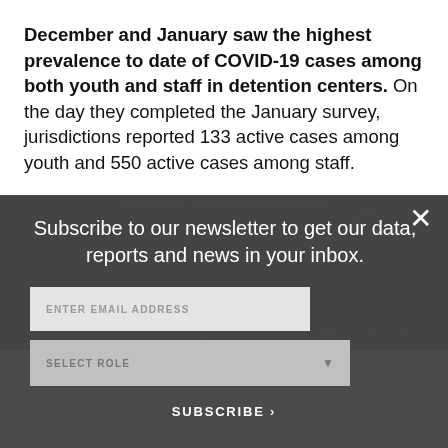December and January saw the highest prevalence to date of COVID-19 cases among both youth and staff in detention centers. On the day they completed the January survey, jurisdictions reported 133 active cases among youth and 550 active cases among staff.
[Figure (bar-chart): Bar chart partially visible behind newsletter subscription modal overlay. Shows monthly COVID-19 case data.]
Subscribe to our newsletter to get our data, reports and news in your inbox.